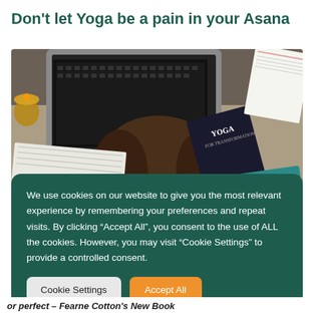Don't let Yoga be a pain in your Asana
[Figure (photo): Overhead photo of a person lying on a desk surrounded by a laptop, a yoga book titled 'Yoga for Transformation', and papers. The text 'FEARNE COTTON' is visible on a teal book cover in the lower right.]
We use cookies on our website to give you the most relevant experience by remembering your preferences and repeat visits. By clicking “Accept All”, you consent to the use of ALL the cookies. However, you may visit "Cookie Settings" to provide a controlled consent.
or perfect – Fearne Cotton's New Book